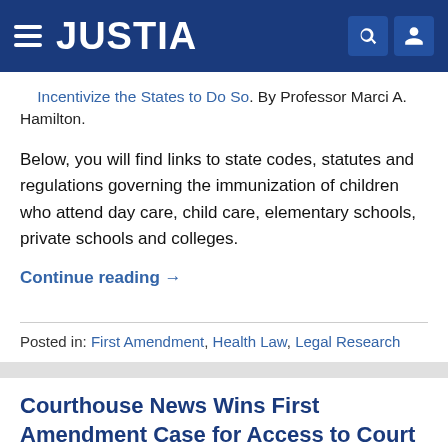JUSTIA
Incentivize the States to Do So. By Professor Marci A. Hamilton.
Below, you will find links to state codes, statutes and regulations governing the immunization of children who attend day care, child care, elementary schools, private schools and colleges.
Continue reading →
Posted in: First Amendment, Health Law, Legal Research
Courthouse News Wins First Amendment Case for Access to Court Records
April 28, 2014 by Courtney Minick